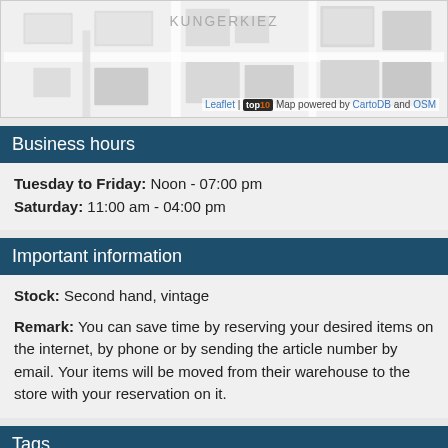[Figure (map): Street map showing KUNGERKIEZ area with building outlines. Map footer shows: Leaflet | top10 Map powered by CartoDB and OSM]
Business hours
Tuesday to Friday: Noon - 07:00 pm
Saturday: 11:00 am - 04:00 pm
Important information
Stock: Second hand, vintage
Remark: You can save time by reserving your desired items on the internet, by phone or by sending the article number by email. Your items will be moved from their warehouse to the store with your reservation on it.
Tags
second hand berlin
second hand fashion
second hand shop
shopping
Comments